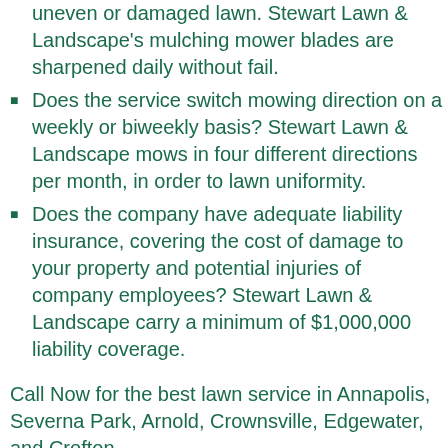uneven or damaged lawn. Stewart Lawn & Landscape's mulching mower blades are sharpened daily without fail.
Does the service switch mowing direction on a weekly or biweekly basis? Stewart Lawn & Landscape mows in four different directions per month, in order to lawn uniformity.
Does the company have adequate liability insurance, covering the cost of damage to your property and potential injuries of company employees? Stewart Lawn & Landscape carry a minimum of $1,000,000 liability coverage.
Call Now for the best lawn service in Annapolis, Severna Park, Arnold, Crownsville, Edgewater, and Crofton.